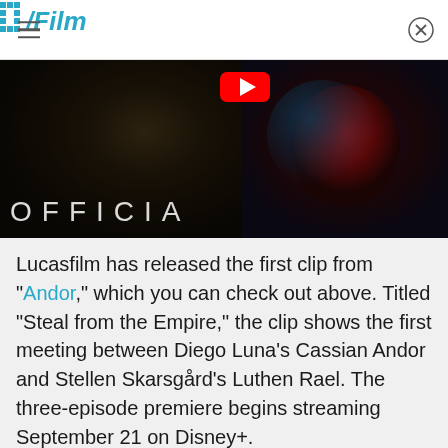/Film
[Figure (screenshot): Video thumbnail showing two scenes: left side with a dark-robed figure in shadow, right side with a red alien/creature face lit in blue, and a play button overlay. Text reads 'OFFICIA' (OFFICIAL cut off). A YouTube play button icon is visible at top center.]
Lucasfilm has released the first clip from "Andor," which you can check out above. Titled "Steal from the Empire," the clip shows the first meeting between Diego Luna's Cassian Andor and Stellen Skarsgård's Luthen Rael. The three-episode premiere begins streaming September 21 on Disney+.